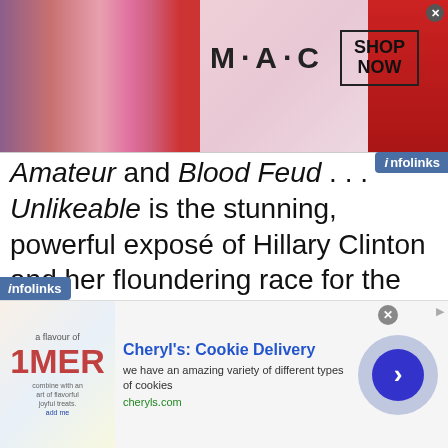[Figure (illustration): MAC cosmetics advertisement banner with lipstick products and SHOP NOW call-to-action box]
Amateur and Blood Feud . . . Unlikeable is the stunning, powerful exposé of Hillary Clinton and her floundering race for the White House. With unprecedented access to longtime associates of the Clintons and the Obamas, investigative reporter Edward Klein meticulously recreates
[Figure (illustration): Cheryl's Cookie Delivery advertisement with cookie imagery and blue arrow button]